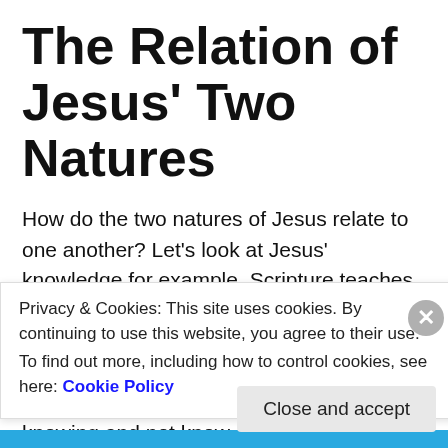The Relation of Jesus' Two Natures
How do the two natures of Jesus relate to one another? Let's look at Jesus' knowledge for example. Scripture teaches that Jesus is God and that God is all-knowing. At the same time, however, Jesus says that He doesn't know the time of His return (Mark 13:32). How can Jesus be all-knowing and not know
Privacy & Cookies: This site uses cookies. By continuing to use this website, you agree to their use.
To find out more, including how to control cookies, see here: Cookie Policy
Close and accept